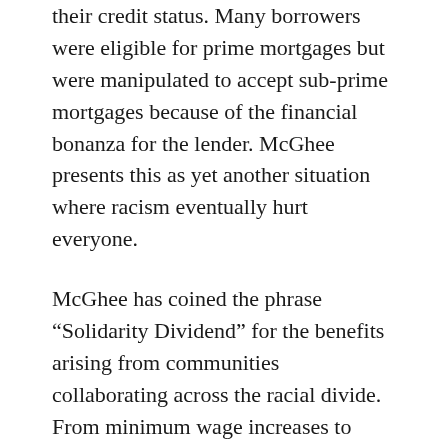their credit status. Many borrowers were eligible for prime mortgages but were manipulated to accept sub-prime mortgages because of the financial bonanza for the lender. McGhee presents this as yet another situation where racism eventually hurt everyone.
McGhee has coined the phrase “Solidarity Dividend” for the benefits arising from communities collaborating across the racial divide. From minimum wage increases to investment in affordable housing development to improvement in air and water quality, the Solidarity Dividend boosts the economy while enhancing quality of life. “Getting white support to address those different levels of need, and to acknowledge the racism that caused these differences, is never easy – particularly when the zero-sum mental model turns every concession into a threat of loss,” McGhee writes